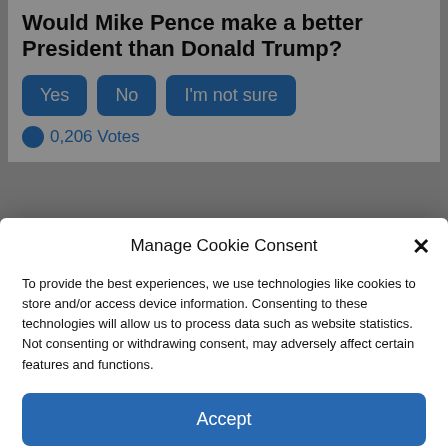Would Mike Pence make a better President than Donald Trump?
0,206 Votes
Upheaval Has Started
267,282
Manage Cookie Consent
To provide the best experiences, we use technologies like cookies to store and/or access device information. Consenting to these technologies will allow us to process data such as website statistics. Not consenting or withdrawing consent, may adversely affect certain features and functions.
Accept
Cookie Policy  Privacy Policy